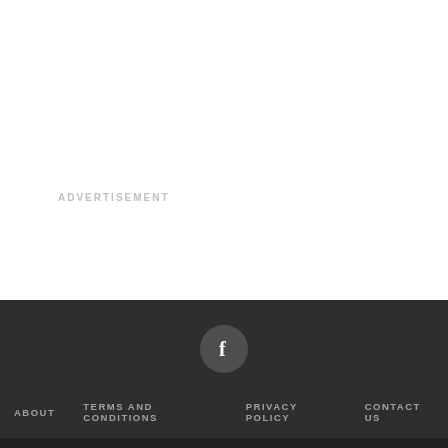ADVERTISEMENT
ABOUT   TERMS AND CONDITIONS   PRIVACY POLICY   CONTACT US